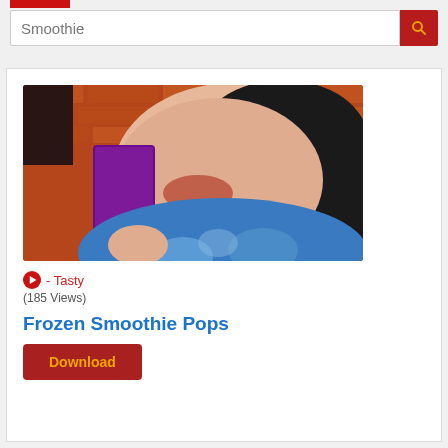Smoothie [search bar with search button]
[Figure (photo): A child biting into a dark purple/red frozen smoothie pop (popsicle) on a stick. The child is wearing a blue tie-dye shirt and has dark hair. Background is a red brick wall.]
▶ - Tasty
(185 Views)
Frozen Smoothie Pops
Download